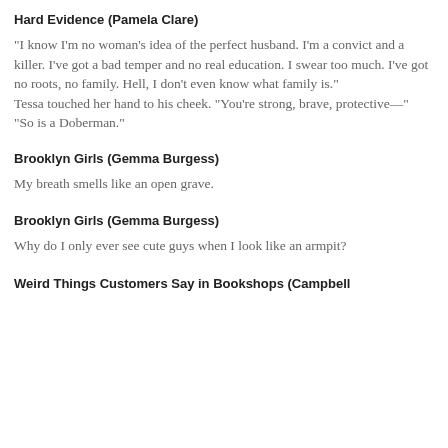Hard Evidence (Pamela Clare)
"I know I'm no woman's idea of the perfect husband. I'm a convict and a killer. I've got a bad temper and no real education. I swear too much. I've got no roots, no family. Hell, I don't even know what family is."
Tessa touched her hand to his cheek. "You're strong, brave, protective—"
"So is a Doberman."
Brooklyn Girls (Gemma Burgess)
My breath smells like an open grave.
Brooklyn Girls (Gemma Burgess)
Why do I only ever see cute guys when I look like an armpit?
Weird Things Customers Say in Bookshops (Campbell